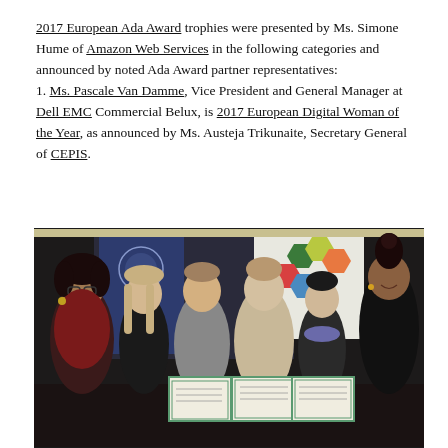2017 European Ada Award trophies were presented by Ms. Simone Hume of Amazon Web Services in the following categories and announced by noted Ada Award partner representatives:
1. Ms. Pascale Van Damme, Vice President and General Manager at Dell EMC Commercial Belux, is 2017 European Digital Woman of the Year, as announced by Ms. Austeja Trikunaite, Secretary General of CEPIS.
[Figure (photo): Group photo of six people, including an adult woman on the far left wearing glasses and a red top, four younger girls in the center holding framed certificates/awards, and a tall adult woman on the far right in a black outfit, all smiling at a ceremony event with banners in the background.]